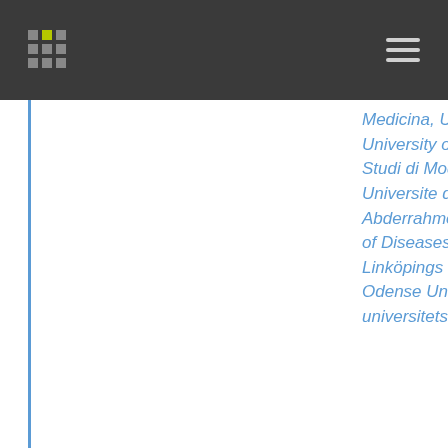Medicina, Universidade de Lisboa; University of Cape Town; Universita degli Studi di Modena e Reggio Emilia; Universite de Tunis El Manar, Hopital Abderrahmene Mami; National Institute of Diseases of the Chest and Hospital; Linköpings universitet; Universität Bonn; Odense Universitetshospital; Skånes universitetssjukhus;